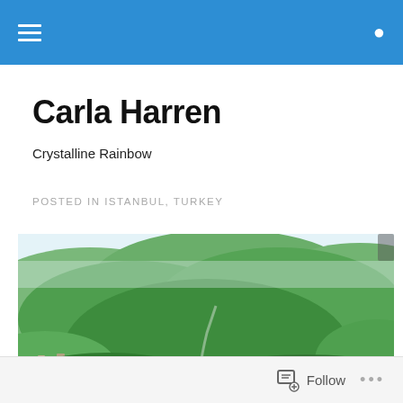Navigation bar with hamburger menu and search icon
Carla Harren
Crystalline Rainbow
POSTED IN ISTANBUL, TURKEY
[Figure (photo): Aerial photograph of lush green forested hills and mountains with a winding road and small settlement in the valley below, misty sky above]
Follow ...